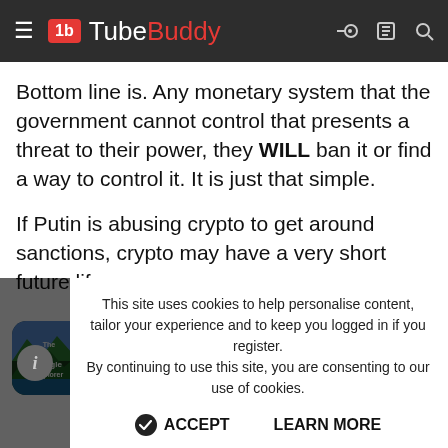TubeBuddy
Bottom line is. Any monetary system that the government cannot control that presents a threat to their power, they WILL ban it or find a way to control it. It is just that simple.
If Putin is abusing crypto to get around sanctions, crypto may have a very short future life span.
Jungle Explorer
[Figure (logo): Jungle Explorer YouTube channel avatar with green mountain/jungle scene]
YouTube 16K
This site uses cookies to help personalise content, tailor your experience and to keep you logged in if you register. By continuing to use this site, you are consenting to our use of cookies.
ACCEPT   LEARN MORE